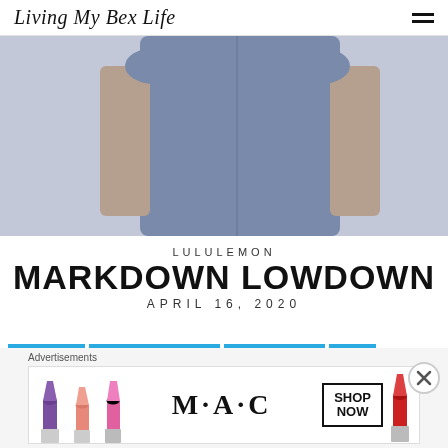Living My Bex Life
[Figure (photo): Close-up photo of a person wearing a blue-grey athletic outfit, showing torso and arms]
LULULEMON
MARKDOWN LOWDOWN
APRIL 16, 2020
LULULEMON
MARKDOWN LOWDOWN
SALES & STEALS
STYLE
lululemon Markdown Lowdown (4/16/20)
Advertisements
[Figure (photo): MAC cosmetics advertisement banner showing lipsticks, MAC logo, and a SHOP NOW button]